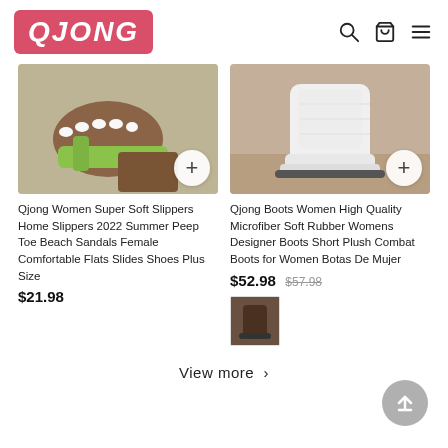QJONG
[Figure (photo): Green slide sandal on textured surface, close-up of toes]
Qjong Women Super Soft Slippers Home Slippers 2022 Summer Peep Toe Beach Sandals Female Comfortable Flats Slides Shoes Plus Size
$21.98
[Figure (photo): White platform boots/shoes on sandy surface]
Qjong Boots Women High Quality Microfiber Soft Rubber Womens Designer Boots Short Plush Combat Boots for Women Botas De Mujer
$52.98 $57.98
[Figure (photo): Thumbnail image of dark boots]
View more >